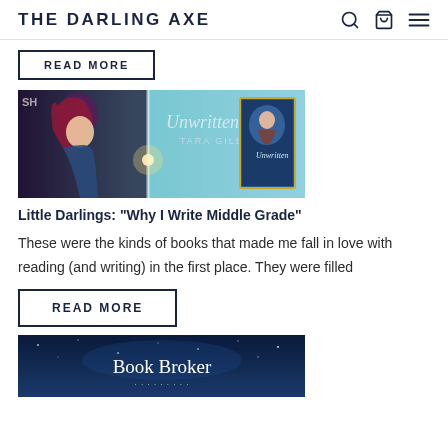THE DARLING AXE
READ MORE
[Figure (illustration): Book cover illustration for 'Unwritten' by Tara Gilboy showing a girl with magical light and fantasy imagery]
Little Darlings: "Why I Write Middle Grade"
These were the kinds of books that made me fall in love with reading (and writing) in the first place. They were filled
READ MORE
[Figure (illustration): Book cover with dark blue space background showing 'Book Broker' title text]